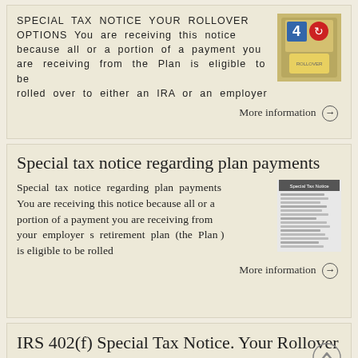SPECIAL TAX NOTICE YOUR ROLLOVER OPTIONS You are receiving this notice because all or a portion of a payment you are receiving from the Plan is eligible to be rolled over to either an IRA or an employer
[Figure (photo): Photo of a yellow toy or object with numerical display items arranged on it]
More information →
Special tax notice regarding plan payments
Special tax notice regarding plan payments You are receiving this notice because all or a portion of a payment you are receiving from your employer s retirement plan (the Plan ) is eligible to be rolled
[Figure (screenshot): Screenshot of a document page showing text content of a special tax notice]
More information →
IRS 402(f) Special Tax Notice. Your Rollover Options